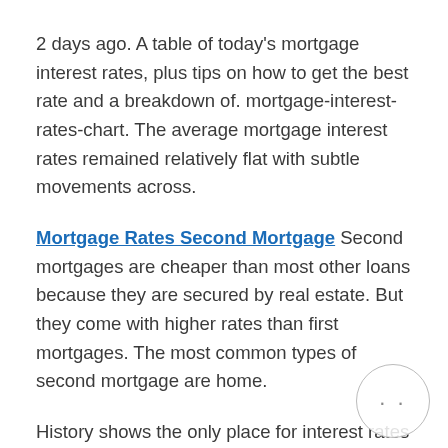2 days ago. A table of today's mortgage interest rates, plus tips on how to get the best rate and a breakdown of. mortgage-interest-rates-chart. The average mortgage interest rates remained relatively flat with subtle movements across.
Mortgage Rates Second Mortgage Second mortgages are cheaper than most other loans because they are secured by real estate. But they come with higher rates than first mortgages. The most common types of second mortgage are home.
History shows the only place for interest rates to go from here is higher – according to veteran technical analyst louise yamada. Looking at a chart of U.S. interest rates over the last two centuries,